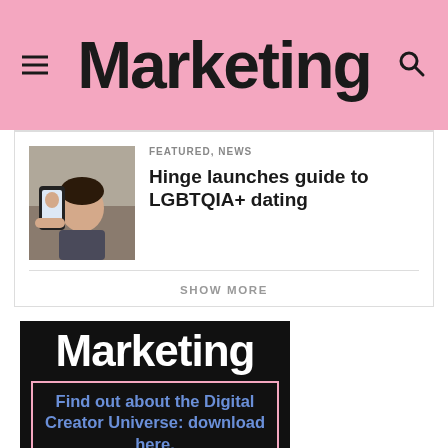Marketing
FEATURED, NEWS
Hinge launches guide to LGBTQIA+ dating
[Figure (photo): Hand holding a smartphone showing a dating app interface with a person's photo on screen]
SHOW MORE
[Figure (infographic): Marketing magazine banner advertisement on black background with pink border box. Text reads: 'Marketing' in large white bold font, and below in a pink-bordered box: 'Find out about the Digital Creator Universe: download here.' in blue text.]